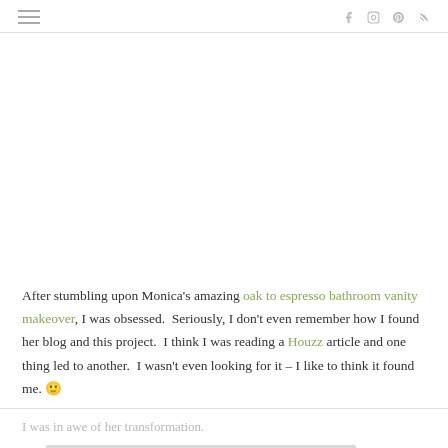≡  f  [instagram]  [pinterest]  [rss]
After stumbling upon Monica's amazing oak to espresso bathroom vanity makeover, I was obsessed.  Seriously, I don't even remember how I found her blog and this project.  I think I was reading a Houzz article and one thing led to another.  I wasn't even looking for it – I like to think it found me. 🙂
I was in awe of her transformation.
[Figure (photo): Partial image placeholder visible at bottom of page]